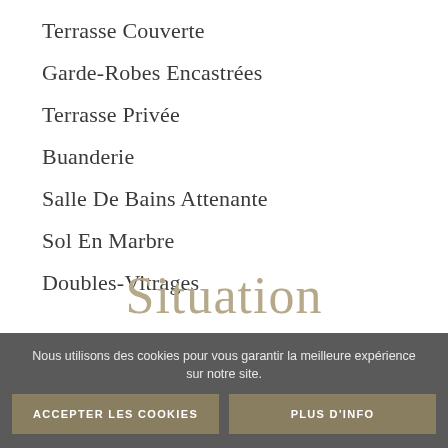Terrasse Couverte
Garde-Robes Encastrées
Terrasse Privée
Buanderie
Salle De Bains Attenante
Sol En Marbre
Doubles-Vitrages
Situation
Nous utilisons des cookies pour vous garantir la meilleure expérience sur notre site.
ACCEPTER LES COOKIES
PLUS D'INFO